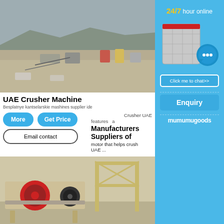[Figure (photo): Aerial view of a quarry/mining site in a desert mountainous area with crusher machinery and industrial equipment spread across a wide open area.]
UAE Crusher Machine
Besplatnye kantselarskie mashines supplier ide
Crusher UAE
Manufacturers Suppliers of
features a motor that helps crush UAE ...
[Figure (photo): Industrial crusher machinery on a mobile frame with red flywheel visible, parked outdoors.]
[Figure (illustration): Side panel advertisement: 24/7 hour online chat widget with crusher machine image, chat bubble icon, Click me to chat button, Enquiry button, and mumumugoods branding on blue background.]